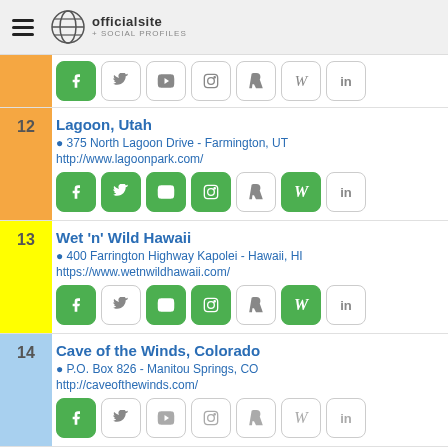officialsite + SOCIAL PROFILES
Social icons row (partial entry above 12)
12 Lagoon, Utah - 375 North Lagoon Drive - Farmington, UT - http://www.lagoonpark.com/
13 Wet 'n' Wild Hawaii - 400 Farrington Highway Kapolei - Hawaii, HI - https://www.wetnwildhawaii.com/
14 Cave of the Winds, Colorado - P.O. Box 826 - Manitou Springs, CO - http://caveofthewinds.com/